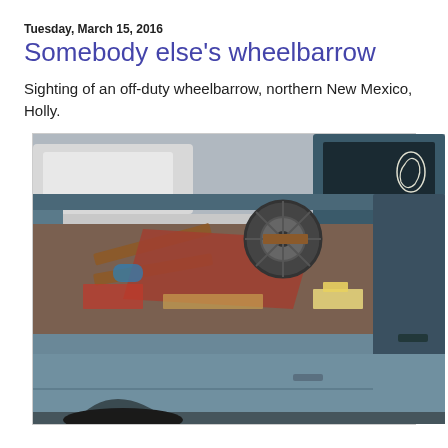Tuesday, March 15, 2016
Somebody else's wheelbarrow
Sighting of an off-duty wheelbarrow, northern New Mexico, Holly.
[Figure (photo): A blue/grey pickup truck with its bed open, containing an overturned wheelbarrow along with other assorted items and debris in a parking lot. The truck has a decorative sticker (horse or cowboy motif) on the rear window.]